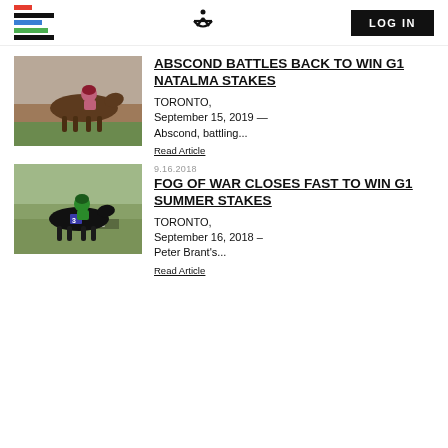[Figure (logo): Colored horizontal stripes logo (red, black, blue, green, black)]
[Figure (logo): Stylized X logo mark]
LOG IN
[Figure (photo): Horse racing photo – brown horse with jockey in pink/maroon silks on a racetrack]
ABSCOND BATTLES BACK TO WIN G1 NATALMA STAKES
TORONTO, September 15, 2019 — Abscond, battling...
Read Article
9.16.2018
[Figure (photo): Horse racing photo – black horse with jockey in green silks, number 3, at Woodbine racetrack]
FOG OF WAR CLOSES FAST TO WIN G1 SUMMER STAKES
TORONTO, September 16, 2018 – Peter Brant's...
Read Article